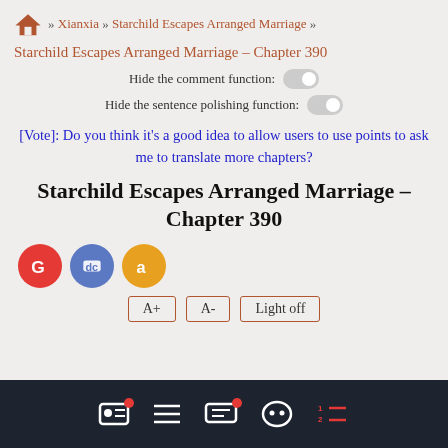» Xianxia » Starchild Escapes Arranged Marriage »
Starchild Escapes Arranged Marriage – Chapter 390
Hide the comment function:
Hide the sentence polishing function:
[Vote]: Do you think it's a good idea to allow users to use points to ask me to translate more chapters?
Starchild Escapes Arranged Marriage – Chapter 390
[Figure (other): Social media icon buttons: Google (red), Discord (blue), Amazon (orange/gold)]
A+ A- Light off
Navigation bar with icons: profile, list, messages, Discord, numbered list